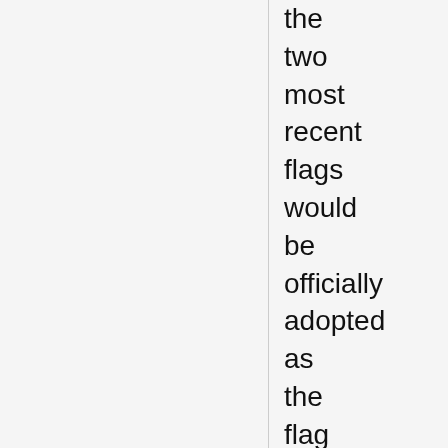the two most recent flags would be officially adopted as the flag of the state. The